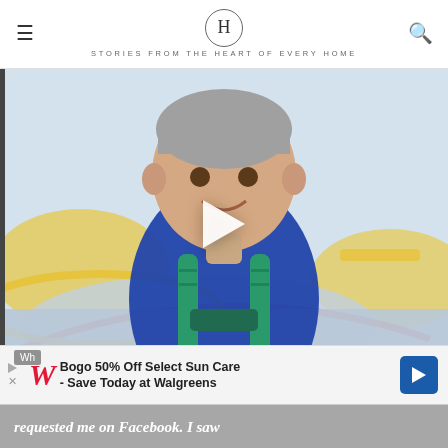H — STORIES FROM THE HEART OF EVERY HOME
[Figure (photo): Young smiling boy wearing a blue long-sleeve shirt and a teal/green plaid backpack, standing outdoors on a colorful playground surface with yellow and red/orange lines. A white play button triangle is overlaid on the center of the image, indicating a video.]
Bogo 50% Off Select Sun Care - Save Today at Walgreens
Wh requested me on Facebook. I saw